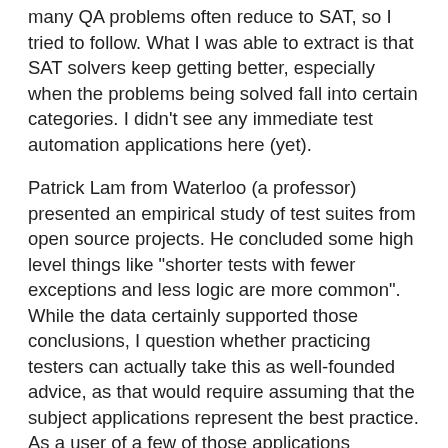many QA problems often reduce to SAT, so I tried to follow. What I was able to extract is that SAT solvers keep getting better, especially when the problems being solved fall into certain categories. I didn't see any immediate test automation applications here (yet).
Patrick Lam from Waterloo (a professor) presented an empirical study of test suites from open source projects. He concluded some high level things like "shorter tests with fewer exceptions and less logic are more common". While the data certainly supported those conclusions, I question whether practicing testers can actually take this as well-founded advice, as that would require assuming that the subject applications represent the best practice. As a user of a few of those applications (including and especially JMeter), I wonder if that's such a good idea. What would really be cool as a follow-up, in my opinion, would be to repeat this on some lauded code bases from the likes of Linux, Google, Facebook, etc. and compare the findings. Perhaps now that the tools exist, this would be something feasible to do.
The "mobile ninjas" from Google closed out the conference